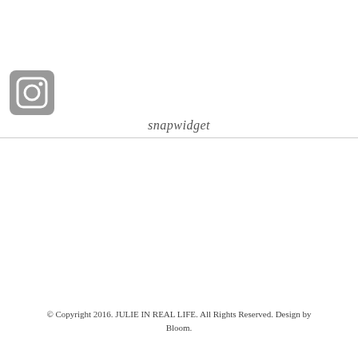[Figure (logo): Instagram logo icon in a rounded square grey background]
snapwidget
© Copyright 2016. JULIE IN REAL LIFE. All Rights Reserved. Design by Bloom.